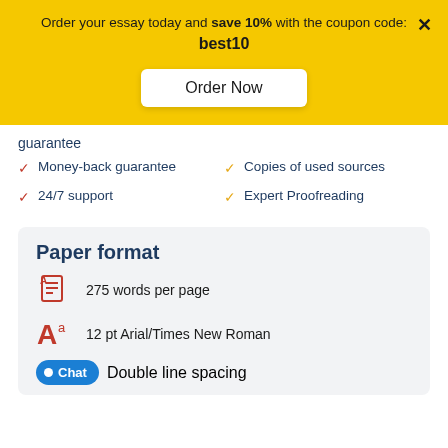Order your essay today and save 10% with the coupon code: best10
Order Now
guarantee
Money-back guarantee
24/7 support
Copies of used sources
Expert Proofreading
Paper format
275 words per page
12 pt Arial/Times New Roman
Double line spacing